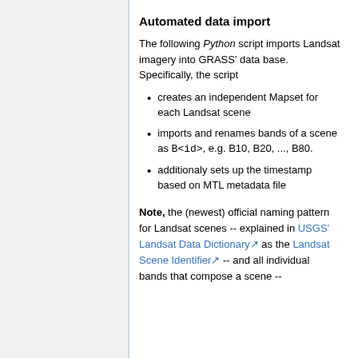Automated data import
The following Python script imports Landsat imagery into GRASS' data base. Specifically, the script
creates an independent Mapset for each Landsat scene
imports and renames bands of a scene as B<id>, e.g. B10, B20, ..., B80.
additionaly sets up the timestamp based on MTL metadata file
Note, the (newest) official naming pattern for Landsat scenes -- explained in USGS' Landsat Data Dictionary as the Landsat Scene Identifier -- and all individual bands that compose a scene --